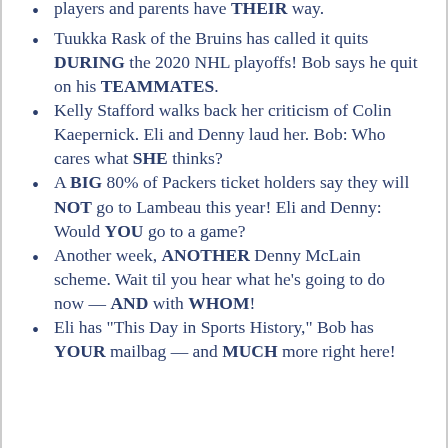players and parents have THEIR way.
Tuukka Rask of the Bruins has called it quits DURING the 2020 NHL playoffs! Bob says he quit on his TEAMMATES.
Kelly Stafford walks back her criticism of Colin Kaepernick. Eli and Denny laud her. Bob: Who cares what SHE thinks?
A BIG 80% of Packers ticket holders say they will NOT go to Lambeau this year! Eli and Denny: Would YOU go to a game?
Another week, ANOTHER Denny McLain scheme. Wait til you hear what he’s going to do now — AND with WHOM!
Eli has “This Day in Sports History,” Bob has YOUR mailbag — and MUCH more right here!